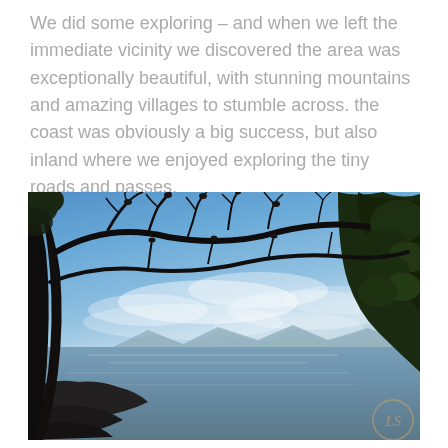We did some exploring – and when we left the immediate vicinity we discovered the area was exceptionally beautiful, with stunning mountains and amazing villages to stumble across. the coast was obviously a big success, but also inland where we enjoyed exploring the tiny roads and passes.
[Figure (photo): Coastal landscape photo viewed through dark silhouetted pine trees. Blue sky with light clouds, calm sea in the middle distance with mountains on the horizon. Rocky foreground at bottom left. Watermark 'LS' in bottom right corner.]